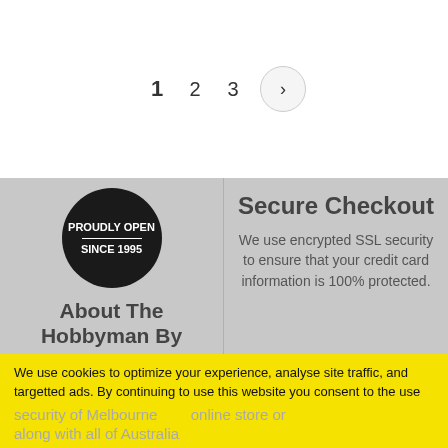1  2  3  >
[Figure (logo): Black circular badge with text PROUDLY OPEN SINCE 1995]
About The Hobbyman By Hearns
Secure Checkout
We use encrypted SSL security to ensure that your credit card information is 100% protected.
We use cookies to optimize your experience, analyse site traffic, and targetted ads. By continuing to use this website you consent to the use of cookies in accordance with our privacy policy.
Privacy Policy   Accept